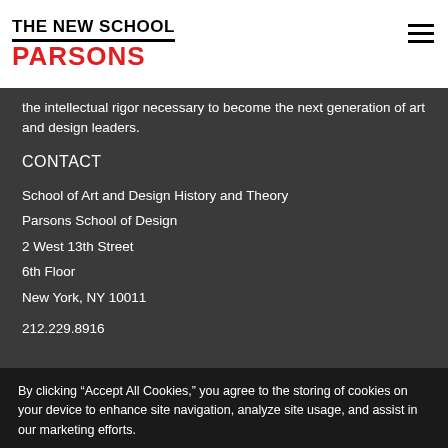THE NEW SCHOOL PARSONS
the intellectual rigor necessary to become the next generation of art and design leaders.
CONTACT
School of Art and Design History and Theory
Parsons School of Design
2 West 13th Street
6th Floor
New York, NY 10011
212.229.8916
By clicking “Accept All Cookies,” you agree to the storing of cookies on your device to enhance site navigation, analyze site usage, and assist in our marketing efforts.
Cookie Statement
Customize Settings
Accept All Cookies